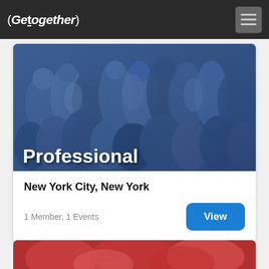(Gettogether)
[Figure (photo): Blue-tinted crowd of people at a professional networking event, with overlay text 'Professional']
New York City, New York
1 Member, 1 Events
[Figure (photo): Partial view of a red-tinted image at the bottom of the page]